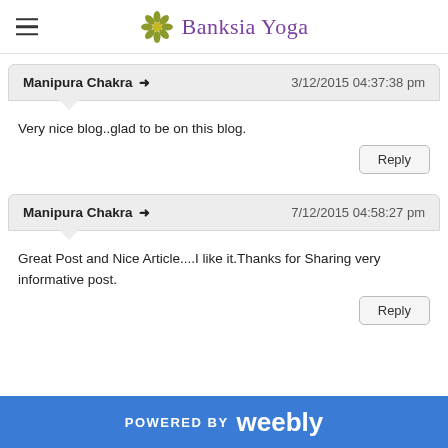Banksia Yoga
Manipura Chakra → 3/12/2015 04:37:38 pm
Very nice blog..glad to be on this blog.
Reply
Manipura Chakra → 7/12/2015 04:58:27 pm
Great Post and Nice Article....I like it.Thanks for Sharing very informative post.
Reply
POWERED BY weebly